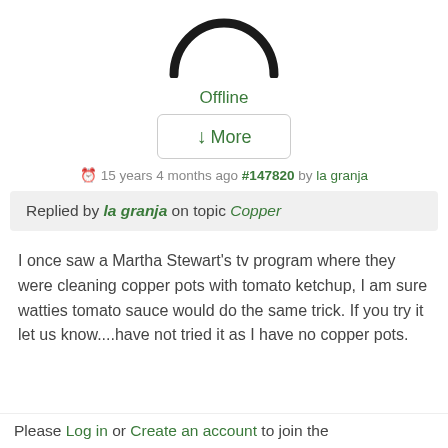[Figure (illustration): Semicircle/half-dome avatar icon in black, representing a user profile silhouette]
Offline
↓More
15 years 4 months ago #147820 by la granja
Replied by la granja on topic Copper
I once saw a Martha Stewart's tv program where they were cleaning copper pots with tomato ketchup, I am sure watties tomato sauce would do the same trick. If you try it let us know....have not tried it as I have no copper pots.
Please Log in or Create an account to join the